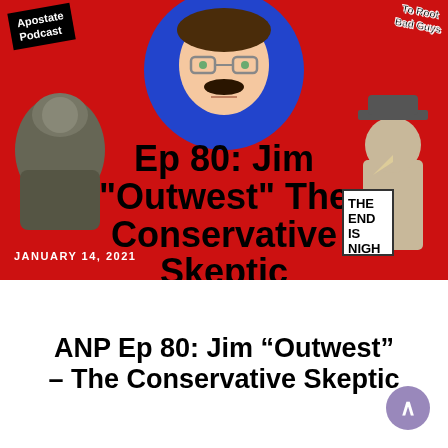[Figure (illustration): Podcast thumbnail image with red background, blue circle with cartoon face, text 'Ep 80: Jim Outwest The Conservative Skeptic', Apostate Podcast label top-left, 'To Root Bad Guys' text top-right, date January 14 2021, THE END IS NIGH sign bottom-right, armored figure bottom-left]
ANP Ep 80: Jim “Outwest” – The Conservative Skeptic